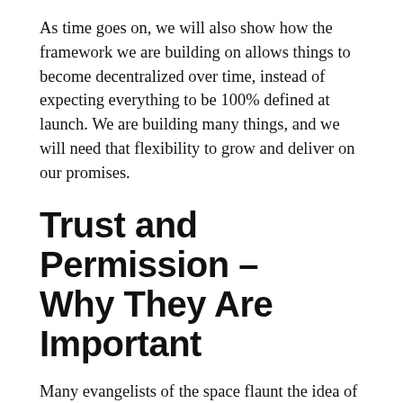As time goes on, we will also show how the framework we are building on allows things to become decentralized over time, instead of expecting everything to be 100% defined at launch. We are building many things, and we will need that flexibility to grow and deliver on our promises.
Trust and Permission – Why They Are Important
Many evangelists of the space flaunt the idea of trustless systems as one of the most important pieces of blockchain technology. While trustless